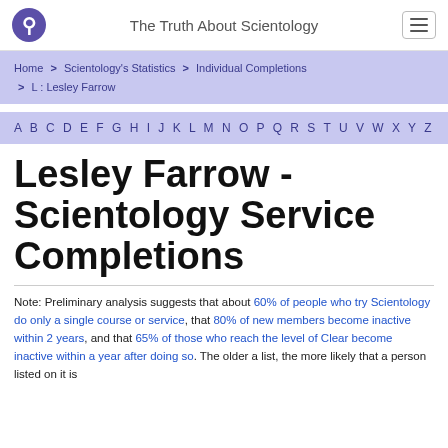The Truth About Scientology
Home > Scientology's Statistics > Individual Completions > L : Lesley Farrow
A B C D E F G H I J K L M N O P Q R S T U V W X Y Z
Lesley Farrow - Scientology Service Completions
Note: Preliminary analysis suggests that about 60% of people who try Scientology do only a single course or service, that 80% of new members become inactive within 2 years, and that 65% of those who reach the level of Clear become inactive within a year after doing so. The older a list, the more likely that a person listed on it is